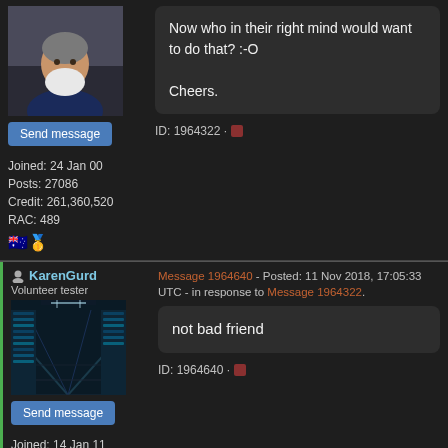[Figure (photo): Profile photo of an older man with a white beard, wearing a dark shirt]
Send message
Joined: 24 Jan 00
Posts: 27086
Credit: 261,360,520
RAC: 489
Now who in their right mind would want to do that? :-O

Cheers.
ID: 1964322 ·
KarenGurd
Volunteer tester
[Figure (photo): Server room with rows of server racks, lit in blue/teal tones]
Send message
Joined: 14 Jan 11
Message 1964640 - Posted: 11 Nov 2018, 17:05:33 UTC - in response to Message 1964322.
not bad friend
ID: 1964640 ·